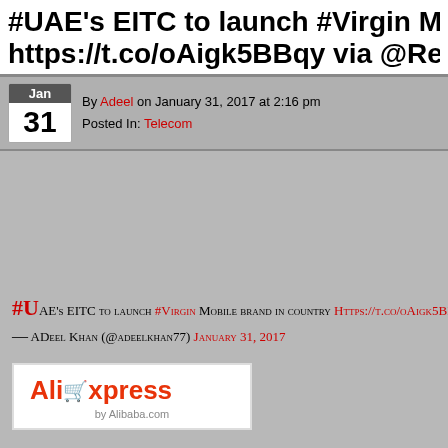#UAE's EITC to launch #Virgin Mobile brand https://t.co/oAigk5BBqy via @Reuters #tel
By Adeel on January 31, 2017 at 2:16 pm
Posted In: Telecom
#UAE's EITC to launch #Virgin Mobile brand in country https://t.co/oAigk5BBqy via @
— ADeel Khan (@adeelkhan77) January 31, 2017
[Figure (logo): AliExpress by Alibaba.com logo]
Tags: IFTTT, twitter